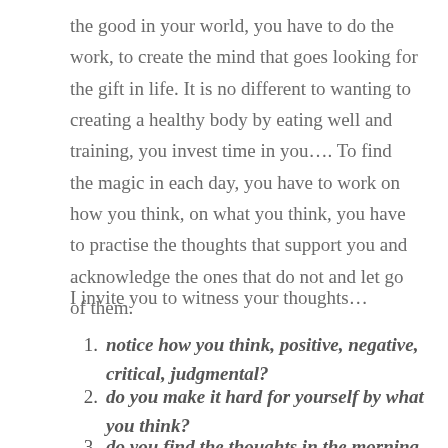the good in your world, you have to do the work, to create the mind that goes looking for the gift in life. It is no different to wanting to creating a healthy body by eating well and training, you invest time in you…. To find the magic in each day, you have to work on how you think, on what you think, you have to practise the thoughts that support you and acknowledge the ones that do not and let go of them.
I invite you to witness your thoughts…
notice how you think, positive, negative, critical, judgmental?
do you make it hard for yourself by what you think?
do you find the thoughts in the morning and...